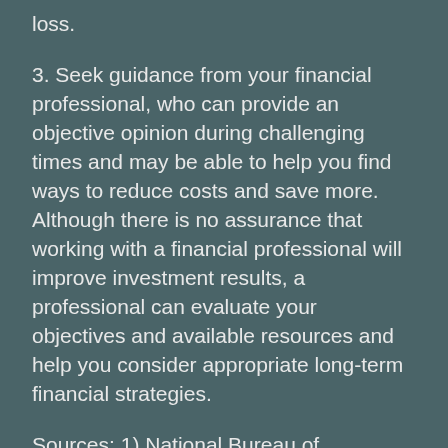loss.
3. Seek guidance from your financial professional, who can provide an objective opinion during challenging times and may be able to help you find ways to reduce costs and save more. Although there is no assurance that working with a financial professional will improve investment results, a professional can evaluate your objectives and available resources and help you consider appropriate long-term financial strategies.
Sources: 1) National Bureau of Economic Research, 2021; 2) Pew Research Center, 2021; 3) Employee Benefit Research Institute, 2021
This information is not intended as tax, legal, investment, or retirement advice or recommendations, and it may not be relied on for the purpose of avoiding any federal tax penalties. You are encouraged to seek guidance from an